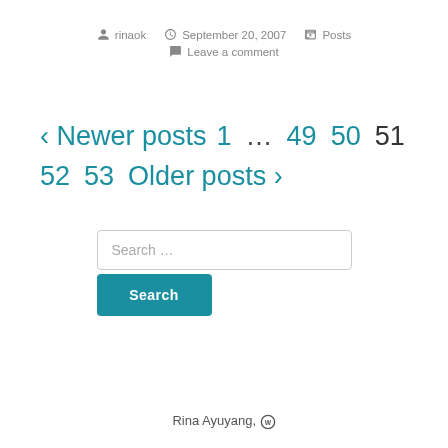rinaok  September 20, 2007  Posts  Leave a comment
‹ Newer posts  1  …  49  50  51  52  53  Older posts ›
Search ...
Rina Ayuyang,  ⓦ